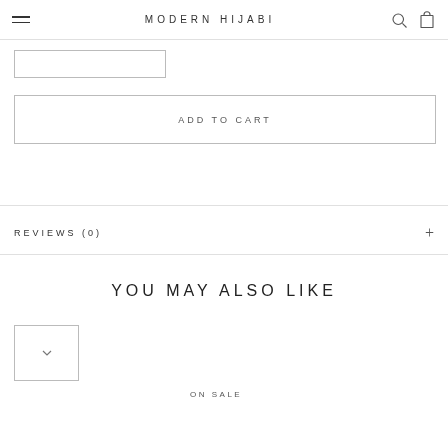MODERN HIJABI
ADD TO CART
REVIEWS (0)
YOU MAY ALSO LIKE
ON SALE